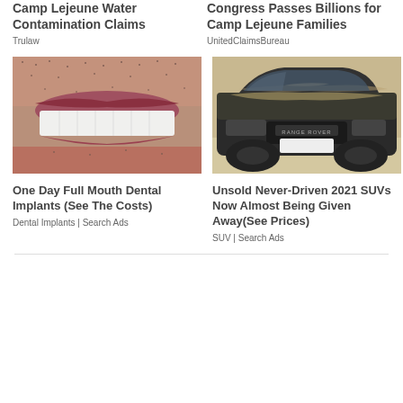Camp Lejeune Water Contamination Claims
Trulaw
Congress Passes Billions for Camp Lejeune Families
UnitedClaimsBureau
[Figure (photo): Close-up photo of a man's mouth showing white dental implants/veneers with facial stubble]
One Day Full Mouth Dental Implants (See The Costs)
Dental Implants | Search Ads
[Figure (photo): Photo of a dusty black Range Rover SUV with sand/dirt on the hood parked outdoors]
Unsold Never-Driven 2021 SUVs Now Almost Being Given Away(See Prices)
SUV | Search Ads